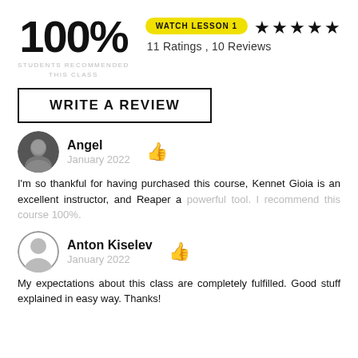100%
STUDENTS RECOMMENDED THIS CLASS
WATCH LESSON 1
★★★★★ 11 Ratings , 10 Reviews
WRITE A REVIEW
Angel
January 2022
I'm so thankful for having purchased this course, Kennet Gioia is an excellent instructor, and Reaper a powerful tool. I recommend this course 100%.
Anton Kiselev
January 2022
My expectations about this class are completely fulfilled. Good stuff explained in easy way. Thanks!